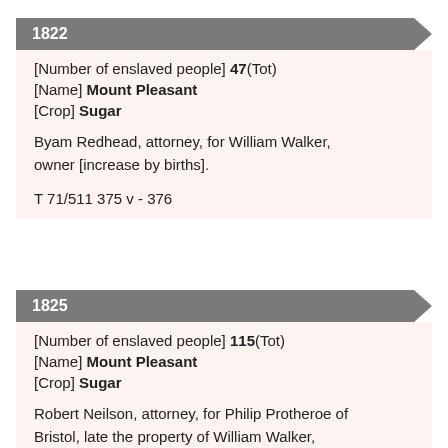1822
[Number of enslaved people] 47(Tot)
[Name] Mount Pleasant
[Crop] Sugar
Byam Redhead, attorney, for William Walker, owner [increase by births].
T 71/511 375 v - 376
1825
[Number of enslaved people] 115(Tot)
[Name] Mount Pleasant
[Crop] Sugar
Robert Neilson, attorney, for Philip Protheroe of Bristol, late the property of William Walker, owner [increase by c 14 births, 2 imports, remainder acquisitions].